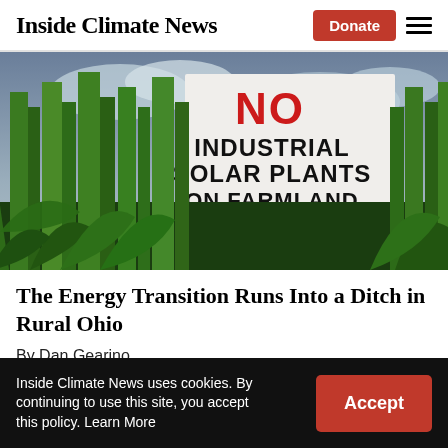Inside Climate News | Donate
[Figure (photo): A protest sign reading 'NO INDUSTRIAL SOLAR PLANTS ON FARMLAND' standing in a field of tall green corn stalks against a cloudy sky.]
The Energy Transition Runs Into a Ditch in Rural Ohio
By Dan Gearino
Inside Climate News uses cookies. By continuing to use this site, you accept this policy. Learn More